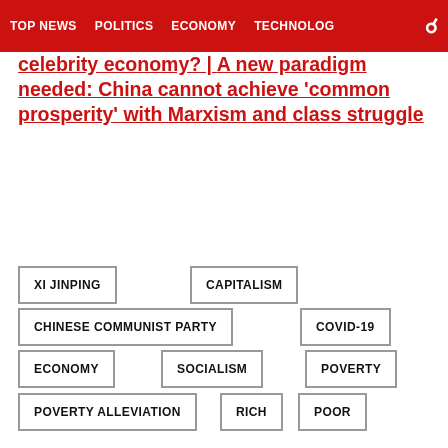TOP NEWS  POLITICS  ECONOMY  TECHNOLOG
A new paradigm needed: China cannot achieve 'common prosperity' with Marxism and class struggle
XI JINPING
CAPITALISM
CHINESE COMMUNIST PARTY
COVID-19
ECONOMY
SOCIALISM
POVERTY
POVERTY ALLEVIATION
RICH
POOR
POPULATION
CLIMATE
BIRTH RATE
CHINA WORKPLACE
HARD POWER
TECHNOLOGY